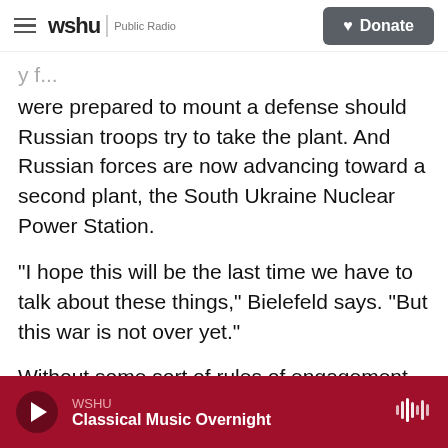wshu | Public Radio — Donate
were prepared to mount a defense should Russian troops try to take the plant. And Russian forces are now advancing toward a second plant, the South Ukraine Nuclear Power Station.
"I hope this will be the last time we have to talk about these things," Bielefeld says. "But this war is not over yet."
Without some sort of rules of engagement regarding nuclear facilities, he worries that a more serious accident could be just a matter of time.
WSHU — Classical Music Overnight